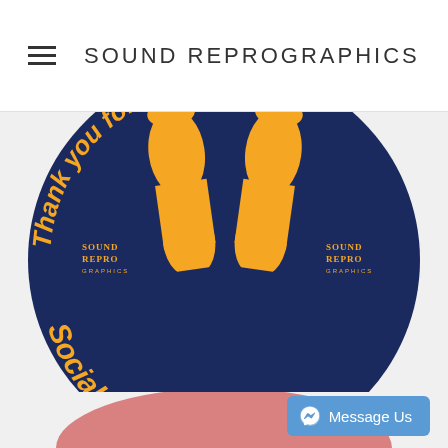SOUND REPROGRAPHICS
[Figure (illustration): Dark navy blue circular floor sticker with orange footprints in the center. Curved text around the top reads 'Thank you for Practicing' and around the bottom reads 'Social Distancing'. Two small Sound Repro Graphics logos appear on the left and right sides of the circle.]
[Figure (illustration): Partial view of a pink/salmon colored circle at the bottom of the page, appears to be another floor sticker product.]